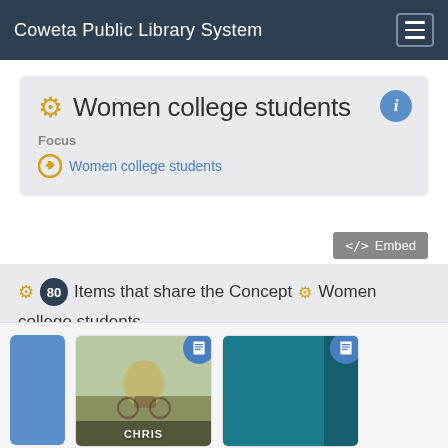Coweta Public Library System
Women college students
Focus
Women college students
</> Embed
80 Items that share the Concept Women college students
[Figure (screenshot): Book covers: partial blue card on left, photo book cover with cyclist labeled CHRIS in center, teal book cover on right]